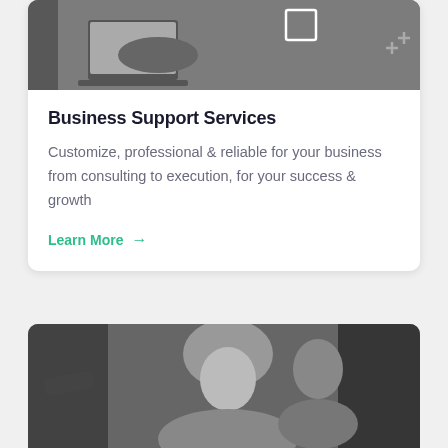[Figure (photo): Grayscale photo of person working at a laptop, partially visible at top of card, with a small decorative plus icon in top right]
Business Support Services
Customize, professional & reliable for your business from consulting to execution, for your success & growth
Learn More →
[Figure (photo): Grayscale photo of a woman with long hair smiling, with another person partially visible in background]